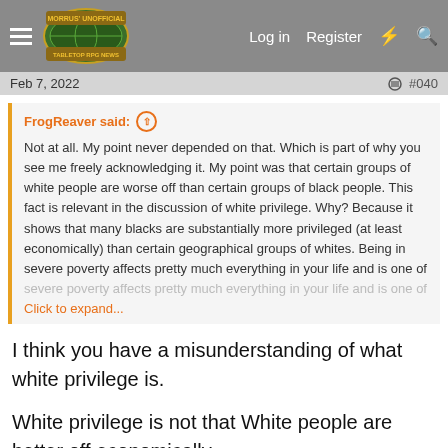Morrus' Unofficial Tabletop RPG News — Log in  Register
Feb 7, 2022   #040
FrogReaver said: ↑

Not at all. My point never depended on that. Which is part of why you see me freely acknowledging it. My point was that certain groups of white people are worse off than certain groups of black people. This fact is relevant in the discussion of white privilege. Why? Because it shows that many blacks are substantially more privileged (at least economically) than certain geographical groups of whites. Being in severe poverty affects pretty much everything in your life and is one of
Click to expand...
I think you have a misunderstanding of what white privilege is.
White privilege is not that White people are better off economically.
White privilege is the advantages of being White. A lot of